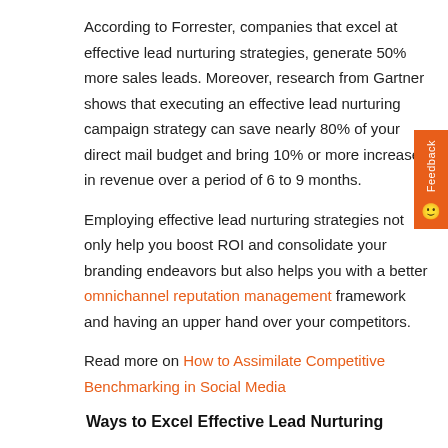According to Forrester, companies that excel at effective lead nurturing strategies, generate 50% more sales leads. Moreover, research from Gartner shows that executing an effective lead nurturing campaign strategy can save nearly 80% of your direct mail budget and bring 10% or more increase in revenue over a period of 6 to 9 months.
Employing effective lead nurturing strategies not only help you boost ROI and consolidate your branding endeavors but also helps you with a better omnichannel reputation management framework and having an upper hand over your competitors.
Read more on How to Assimilate Competitive Benchmarking in Social Media
Ways to Excel Effective Lead Nurturing
Thinking of effective lead nurturing strategies, savvy marketers are baffled by several questions in mind, such as:
How to figure out the effective lead nurturing strategies that